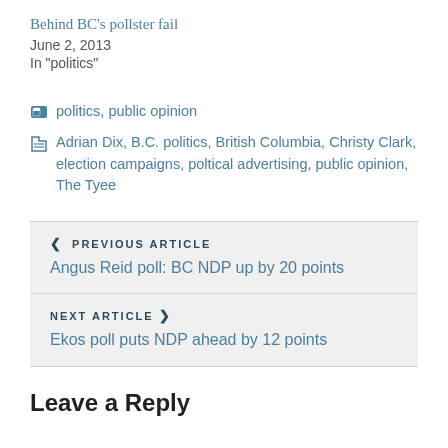Behind BC's pollster fail
June 2, 2013
In "politics"
politics, public opinion
Adrian Dix, B.C. politics, British Columbia, Christy Clark, election campaigns, poltical advertising, public opinion, The Tyee
PREVIOUS ARTICLE
Angus Reid poll: BC NDP up by 20 points
NEXT ARTICLE
Ekos poll puts NDP ahead by 12 points
Leave a Reply